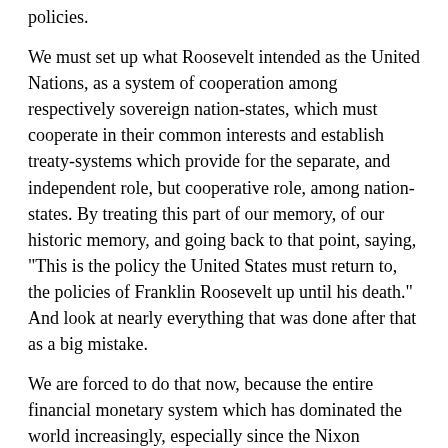policies.
We must set up what Roosevelt intended as the United Nations, as a system of cooperation among respectively sovereign nation-states, which must cooperate in their common interests and establish treaty-systems which provide for the separate, and independent role, but cooperative role, among nation-states. By treating this part of our memory, of our historic memory, and going back to that point, saying, "This is the policy the United States must return to, the policies of Franklin Roosevelt up until his death." And look at nearly everything that was done after that as a big mistake.
We are forced to do that now, because the entire financial monetary system which has dominated the world increasingly, especially since the Nixon Administration, especially since the middle of the 1960s, that system is now finished. And if we don't replace it, we will have chaos on this planet, and we will not have much to salvage, that's the essential part. And I think this is the crux.
I think every other leading issue of this jigsaw puzzle, is irrelevant. We must establish, among nations, a consciousness that this is the problem: that we have to understand what the meaning is of four major world powers, leading world powers,